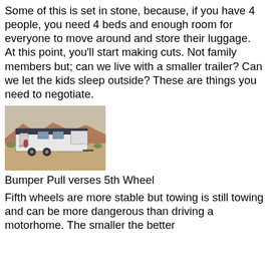Some of this is set in stone, because, if you have 4 people, you need 4 beds and enough room for everyone to move around and store their luggage. At this point, you'll start making cuts. Not family members but; can we live with a smaller trailer? Can we let the kids sleep outside? These are things you need to negotiate.
[Figure (photo): Photo of a white and dark-colored bumper pull trailer parked in a desert setting with mountains in the background]
Bumper Pull verses 5th Wheel
Fifth wheels are more stable but towing is still towing and can be more dangerous than driving a motorhome. The smaller the better